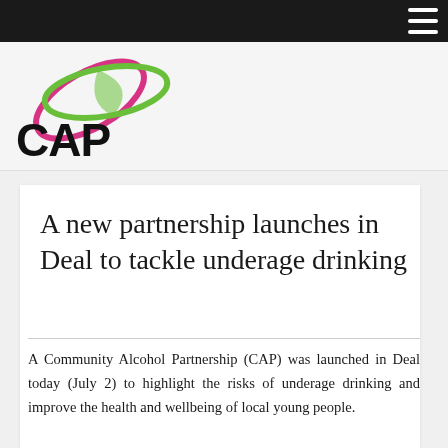[Figure (logo): CAP Community Alcohol Partnership logo — pink and green overlapping oval swoosh above bold black text 'CAP']
A new partnership launches in Deal to tackle underage drinking
A Community Alcohol Partnership (CAP) was launched in Deal today (July 2) to highlight the risks of underage drinking and improve the health and wellbeing of local young people.